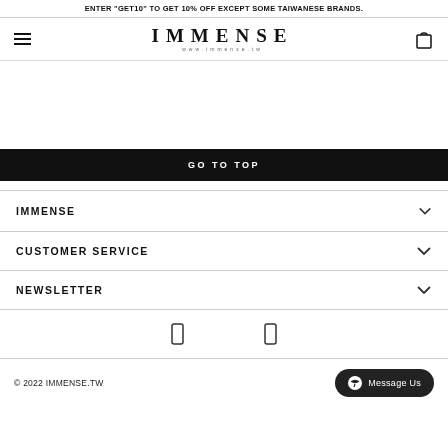ENTER "GET10" TO GET 10% OFF EXCEPT SOME TAIWANESE BRANDS.
[Figure (logo): IMMENSE logo with hamburger menu and shopping bag icon]
GO TO TOP
IMMENSE
CUSTOMER SERVICE
NEWSLETTER
[Figure (other): Two social media icon placeholders]
© 2022 IMMENSE.TW
Message Us